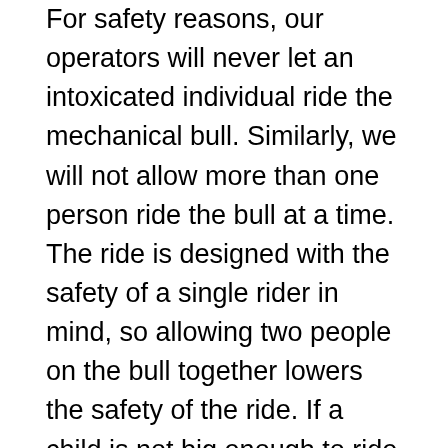For safety reasons, our operators will never let an intoxicated individual ride the mechanical bull. Similarly, we will not allow more than one person ride the bull at a time. The ride is designed with the safety of a single rider in mind, so allowing two people on the bull together lowers the safety of the ride. If a child is not big enough to ride the bull by themselves they should not be riding the bull at all, even with a parent.
Let's Party will deliver and set up the mechanical bull rental at your event in San Francisco and insure that it is clean and in good working condition. It can be set up inside or outside. If set up inside, make sure you have plenty of overhead clearance. We require an area of 20ft x 20ft in surface area and 12ft of overhead clearance. When your event is over, we will return and take it